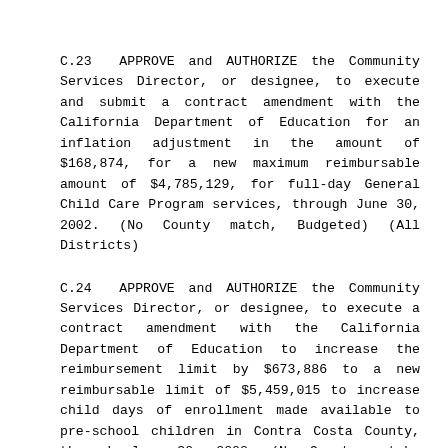C.23 APPROVE and AUTHORIZE the Community Services Director, or designee, to execute and submit a contract amendment with the California Department of Education for an inflation adjustment in the amount of $168,874, for a new maximum reimbursable amount of $4,785,129, for full-day General Child Care Program services, through June 30, 2002. (No County match, Budgeted) (All Districts)
C.24 APPROVE and AUTHORIZE the Community Services Director, or designee, to execute a contract amendment with the California Department of Education to increase the reimbursement limit by $673,886 to a new reimbursable limit of $5,459,015 to increase child days of enrollment made available to pre-school children in Contra Costa County, through June 30, 2002. (No County match, Budgeted) (All Districts)